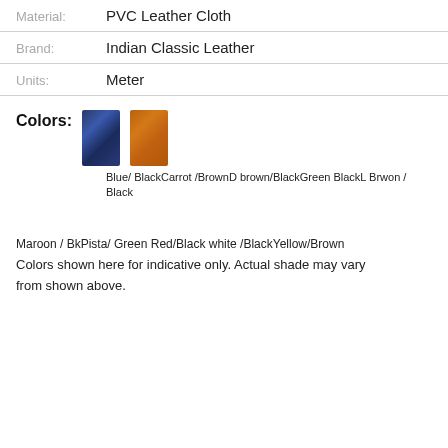| Material: | PVC Leather Cloth |
| Brand: | Indian Classic Leather |
| Units: | Meter |
Colors:
[Figure (photo): Two color swatches: a dark blue leather swatch and a brown/tan leather swatch]
Blue/ BlackCarrot /BrownD brown/BlackGreen BlackL Brwon / Black
Maroon / BkPista/ Green Red/Black white /BlackYellow/Brown
Colors shown here for indicative only. Actual shade may vary from shown above.